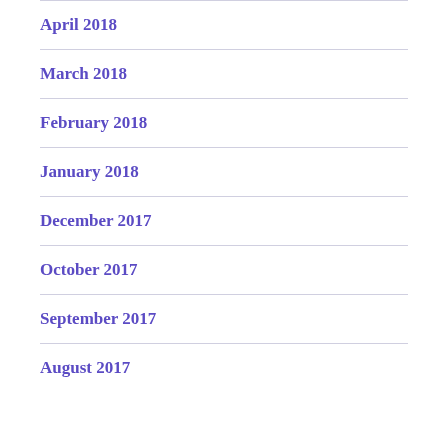April 2018
March 2018
February 2018
January 2018
December 2017
October 2017
September 2017
August 2017